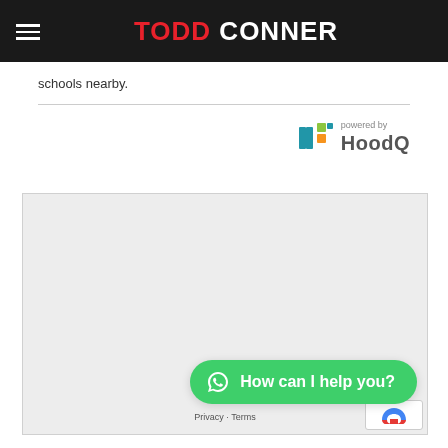TODD CONNER
schools nearby.
[Figure (logo): HoodQ logo with 'powered by HoodQ' text]
[Figure (map): Embedded map placeholder (light gray area)]
How can I help you?